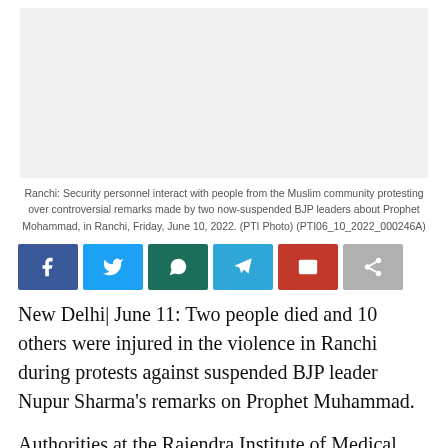[Figure (photo): Light grey placeholder for a news photo of security personnel interacting with protesters in Ranchi]
Ranchi: Security personnel interact with people from the Muslim community protesting over controversial remarks made by two now-suspended BJP leaders about Prophet Mohammad, in Ranchi, Friday, June 10, 2022. (PTI Photo) (PTI06_10_2022_000246A)
[Figure (infographic): Social media share buttons: Facebook, Twitter, WhatsApp, Telegram, Email, Share]
New Delhi| June 11: Two people died and 10 others were injured in the violence in Ranchi during protests against suspended BJP leader Nupur Sharma’s remarks on Prophet Muhammad.
Authorities at the Rajendra Institute of Medical Sciences confirmed that two people brought to the